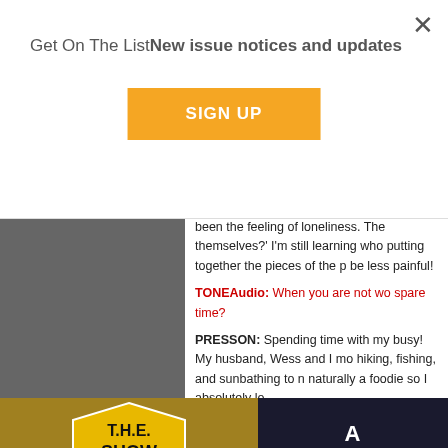Get On The ListNew issue notices and updates
SIGN UP
been the feeling of loneliness. The themselves?' I'm still learning who putting together the pieces of the p be less painful!
TONEAudio: When you are not wo spare time?
PRESSON: Spending time with my busy! My husband, Wess and I mo hiking, fishing, and sunbathing to n naturally a foodie so I absolutely lo
[Figure (photo): Gray image area on left side of page]
[Figure (logo): T.H.E. SHOW logo in hexagon shape on yellow/gold background, with dark box to right showing partial text 'A' and 'JU']